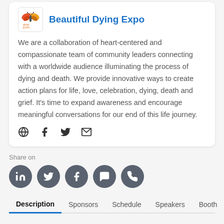[Figure (logo): Beautiful Dying Expo logo — stylized butterfly/wings in orange, red and yellow above text 'dying Expo']
Beautiful Dying Expo
We are a collaboration of heart-centered and compassionate team of community leaders connecting with a worldwide audience illuminating the process of dying and death. We provide innovative ways to create action plans for life, love, celebration, dying, death and grief. It's time to expand awareness and encourage meaningful conversations for our end of this life journey.
Social icons: globe, facebook, twitter, email
Share on
Share buttons: LinkedIn, Twitter, Facebook, Chat, WhatsApp
Description  Sponsors  Schedule  Speakers  Booth